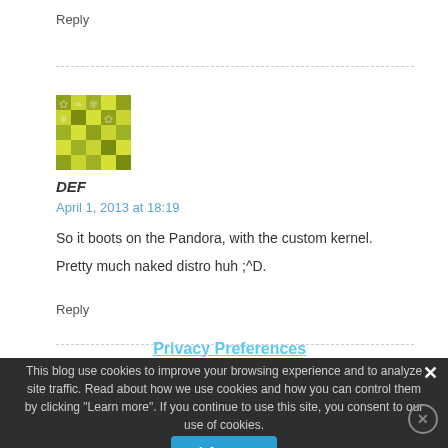Reply
[Figure (illustration): Pixel art avatar with olive/yellow-green geometric pattern]
DEF
April 1, 2013 at 18:19
So it boots on the Pandora, with the custom kernel.
Pretty much naked distro huh ;^D.
Reply
Privacy Preferences
This blog use cookies to improve your browsing experience and to analyze site traffic. Read about how we use cookies and how you can control them by clicking "Learn more". If you continue to use this site, you consent to our use of cookies.
I Agree